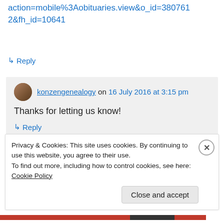action=mobile%3Aobituaries.view&o_id=3807612&fh_id=10641
↳ Reply
konzengenealogy on 16 July 2016 at 3:15 pm
Thanks for letting us know!
↳ Reply
Privacy & Cookies: This site uses cookies. By continuing to use this website, you agree to their use.
To find out more, including how to control cookies, see here: Cookie Policy
Close and accept